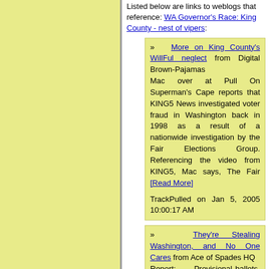Listed below are links to weblogs that reference: WA Governor's Race: King County - nest of vipers:
» More on King County's WillFul neglect from Digital Brown-Pajamas
Mac over at Pull On Superman's Cape reports that KING5 News investigated voter fraud in Washington back in 1998 as a result of a nationwide investigation by the Fair Elections Group. Referencing the video from KING5, Mac says, The Fair [Read More]

TrackPulled on Jan 5, 2005 10:00:17 AM
» They're Stealing Washington, and No One Cares from Ace of Spades HQ
Report: Provisional ballots, which are only supposed to be counted after the purported voter's right to vote has been established, were instead fed into voting machines without any